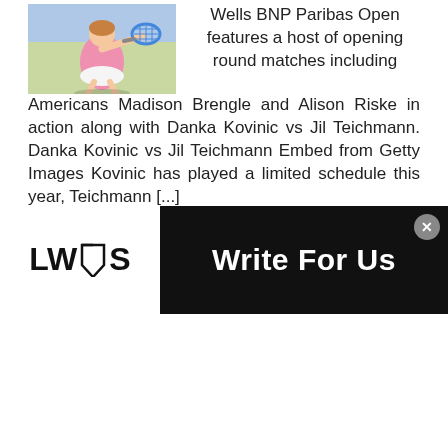[Figure (photo): Tennis player in pink outfit hitting a shot with a blue racket]
Wells BNP Paribas Open features a host of opening round matches including Americans Madison Brengle and Alison Riske in action along with Danka Kovinic vs Jil Teichmann. Danka Kovinic vs Jil Teichmann Embed from Getty Images Kovinic has played a limited schedule this year, Teichmann [...]
READ MORE
Newer posts
Older posts
[Figure (logo): LWS Write For Us banner with megaphone icon logo]